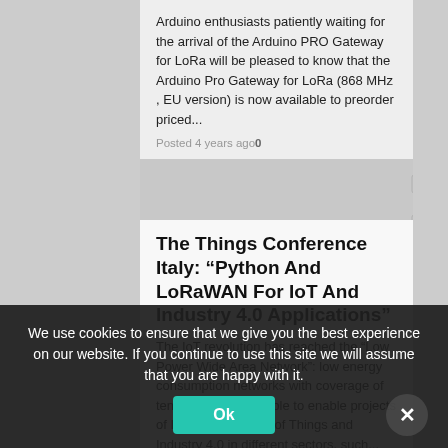Arduino enthusiasts patiently waiting for the arrival of the Arduino PRO Gateway for LoRa will be pleased to know that the Arduino Pro Gateway for LoRa (868 MHz , EU version) is now available to preorder priced...
Posted 4 years ago 0
The Things Conference Italy: “Python And LoRaWAN For IoT And Industry 4.0 Applications”
The IoT revolution has reached the “Low Power Wide Area Network”: low energy consumption networks with coverage of tens of kilometers, able to enable projects of Industrial Internet of Things and Industry 4.0 in different sectors, such...
Posted 4 years ago 8
New LoRa Gateway FoC IoT
A startup company Matrixxx has released its new LoRa gateway, based on SX1301 chip, with Listen Before Talk, Spectral scan, GPS, WiFi. It is using OpenWRT... (antenna 2 x RP-SMA, 0...
We use cookies to ensure that we give you the best experience on our website. If you continue to use this site we will assume that you are happy with it.
Ok